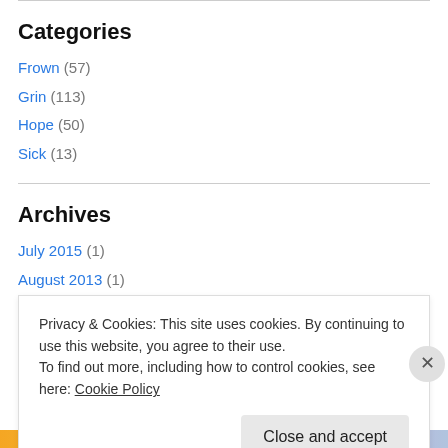Categories
Frown (57)
Grin (113)
Hope (50)
Sick (13)
Archives
July 2015 (1)
August 2013 (1)
July 2013 (1)
Privacy & Cookies: This site uses cookies. By continuing to use this website, you agree to their use.
To find out more, including how to control cookies, see here: Cookie Policy